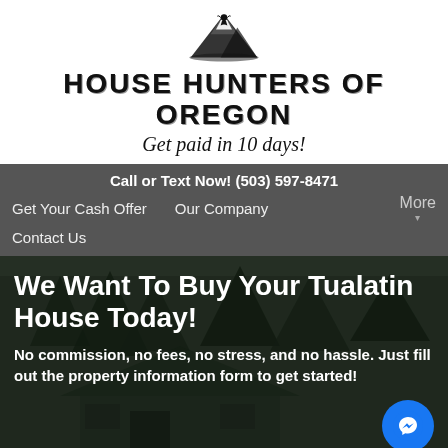[Figure (logo): Mountain silhouette logo for House Hunters of Oregon]
HOUSE HUNTERS OF OREGON
Get paid in 10 days!
Call or Text Now! (503) 597-8471
Get Your Cash Offer
Our Company
More
Contact Us
We Want To Buy Your Tualatin House Today!
No commission, no fees, no stress, and no hassle. Just fill out the property information form to get started!
Get An Offer Today. Sell In A Matter Of Days...